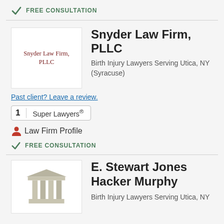✓ FREE CONSULTATION
Snyder Law Firm, PLLC
Birth Injury Lawyers Serving Utica, NY (Syracuse)
Past client? Leave a review.
1  Super Lawyers®
Law Firm Profile
✓ FREE CONSULTATION
E. Stewart Jones Hacker Murphy
Birth Injury Lawyers Serving Utica, NY